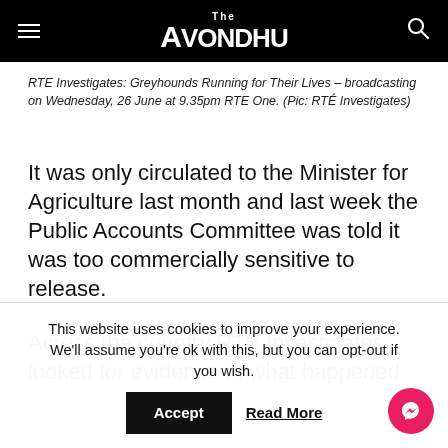The Avondhu
RTE Investigates: Greyhounds Running for Their Lives – broadcasting on Wednesday, 26 June at 9.35pm RTE One. (Pic: RTÉ Investigates)
It was only circulated to the Minister for Agriculture last month and last week the Public Accounts Committee was told it was too commercially sensitive to release.
Across the country RTÉ Investigates looked for evidence of what happened the unwanted dogs. 30
This website uses cookies to improve your experience. We'll assume you're ok with this, but you can opt-out if you wish.